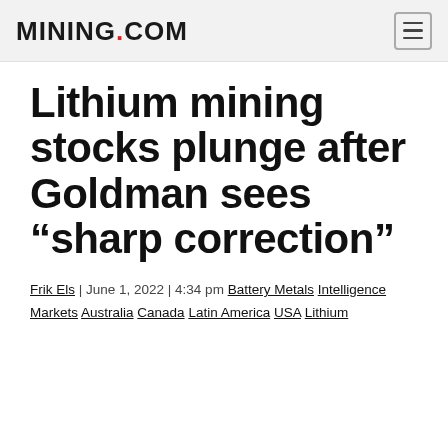MINING.COM
Lithium mining stocks plunge after Goldman sees “sharp correction”
Frik Els | June 1, 2022 | 4:34 pm Battery Metals Intelligence Markets Australia Canada Latin America USA Lithium